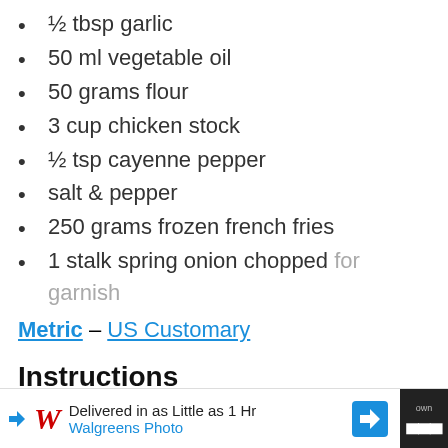½ tbsp garlic
50 ml vegetable oil
50 grams flour
3 cup chicken stock
½ tsp cayenne pepper
salt & pepper
250 grams frozen french fries
1 stalk spring onion chopped for garnish
Metric – US Customary
Instructions
Spray a frying pan with oil spray and
[Figure (other): Advertisement bar: Walgreens Photo — Delivered in as Little as 1 Hr]